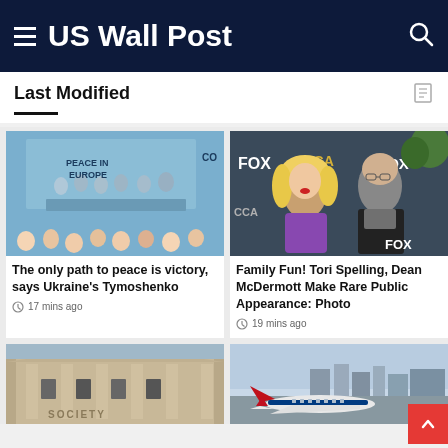US Wall Post
Last Modified
[Figure (photo): Panel discussion with 'PEACE IN EUROPE' backdrop, audience in foreground]
The only path to peace is victory, says Ukraine's Tymoshenko
17 mins ago
[Figure (photo): Tori Spelling and Dean McDermott at FOX TCA event]
Family Fun! Tori Spelling, Dean McDermott Make Rare Public Appearance: Photo
19 mins ago
[Figure (photo): Building exterior with SOCIETY text]
[Figure (photo): Airport/city skyline with Delta aircraft]